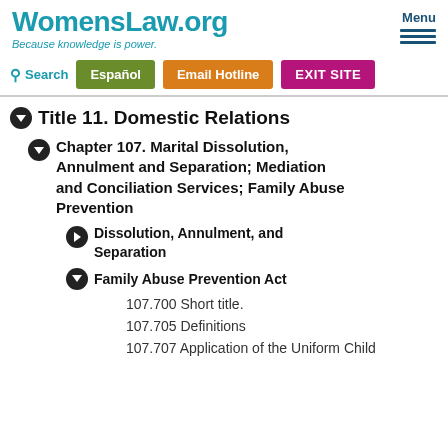WomensLaw.org — Because knowledge is power.
Title 11. Domestic Relations
Chapter 107. Marital Dissolution, Annulment and Separation; Mediation and Conciliation Services; Family Abuse Prevention
Dissolution, Annulment, and Separation
Family Abuse Prevention Act
107.700 Short title.
107.705 Definitions
107.707 Application of the Uniform Child